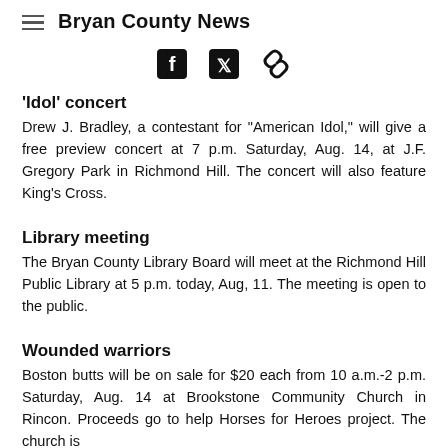Bryan County News
[Figure (infographic): Social sharing icons: Facebook, Twitter, and link/chain icon]
'Idol' concert
Drew J. Bradley, a contestant for "American Idol," will give a free preview concert at 7 p.m. Saturday, Aug. 14, at J.F. Gregory Park in Richmond Hill. The concert will also feature King's Cross.
Library meeting
The Bryan County Library Board will meet at the Richmond Hill Public Library at 5 p.m. today, Aug, 11. The meeting is open to the public.
Wounded warriors
Boston butts will be on sale for $20 each from 10 a.m.-2 p.m. Saturday, Aug. 14 at Brookstone Community Church in Rincon. Proceeds go to help Horses for Heroes project. The church is